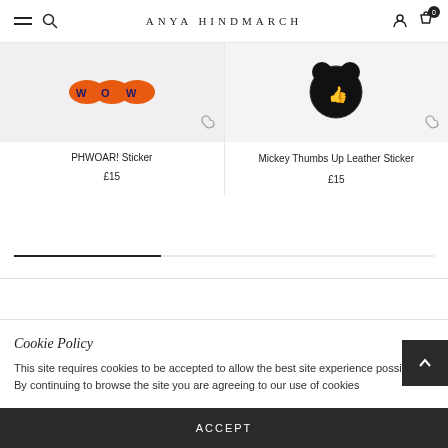ANYA HINDMARCH
[Figure (photo): PHWOAR! Sticker product image on grey background]
PHWOAR! Sticker
£15
[Figure (photo): Mickey Thumbs Up Leather Sticker product image on grey background]
Mickey Thumbs Up Leather Sticker
£15
Cookie Policy
This site requires cookies to be accepted to allow the best site experience possible. By continuing to browse the site you are agreeing to our use of cookies
ACCEPT